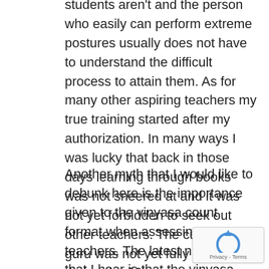students aren't and the person who easily can perform extreme postures usually does not have to understand the difficult process to attain them. As for many other aspiring teachers my true training started after my authorization. In many ways I was lucky that back in those days learning through books was not sneered at and it was not yet forbidden to seek out other teachers. The cult of the guru was not yet fully under way during the 90's.
Another myth that I would like to debunk here is the importance given to the vinyasa count format when assessing teachers. The latest nonsense that I hear is that the vinyasa count has been given mantra status. This is like translating primary school calculus exercises into Sanskrit (which software c… do for you) and think they become mantras by do…